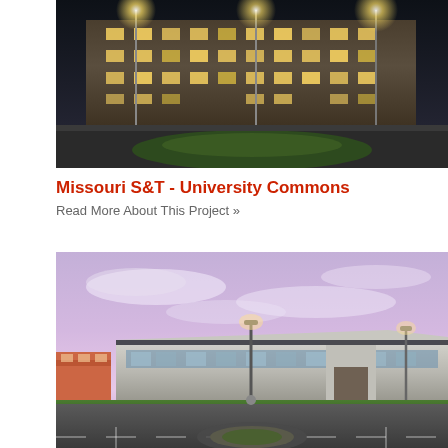[Figure (photo): Nighttime exterior photo of Missouri S&T University Commons building with lights illuminating the facade and landscaped grounds]
Missouri S&T - University Commons
Read More About This Project »
[Figure (photo): Dusk exterior photo of a large modern single-story commercial/institutional building with a parking lot in the foreground and purple-tinted sky]